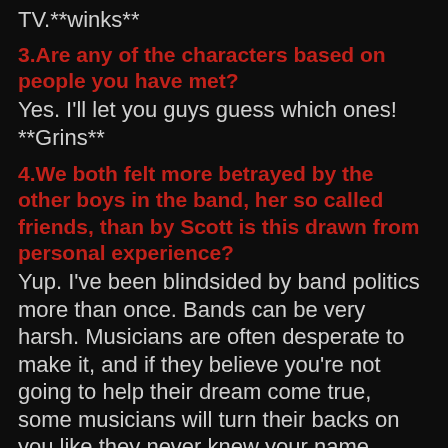TV.**winks**
3.Are any of the characters based on people you have met?
Yes. I'll let you guys guess which ones! **Grins**
4.We both felt more betrayed by the other boys in the band, her so called friends, than by Scott is this drawn from personal experience?
Yup. I've been blindsided by band politics more than once. Bands can be very harsh. Musicians are often desperate to make it, and if they believe you're not going to help their dream come true, some musicians will turn their backs on you like they never knew your name.
5.Scott is a very jealous person in this book, where does his jealousy stem from? Or is it his own insecurities?
Oh, gosh, that's the first question anyone has asked about Scott!